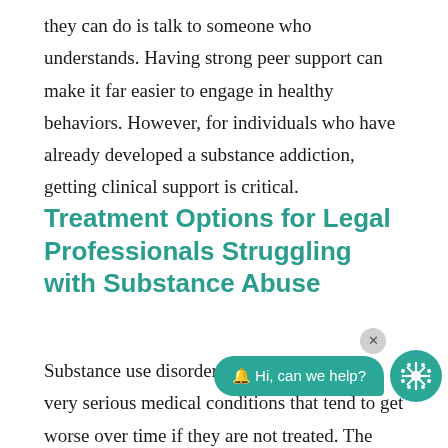they can do is talk to someone who understands. Having strong peer support can make it far easier to engage in healthy behaviors. However, for individuals who have already developed a substance addiction, getting clinical support is critical.
Treatment Options for Legal Professionals Struggling with Substance Abuse
Substance use disorders are legitimate and very serious medical conditions that tend to get worse over time if they are not treated. The consequences of addiction are numerous: loss of